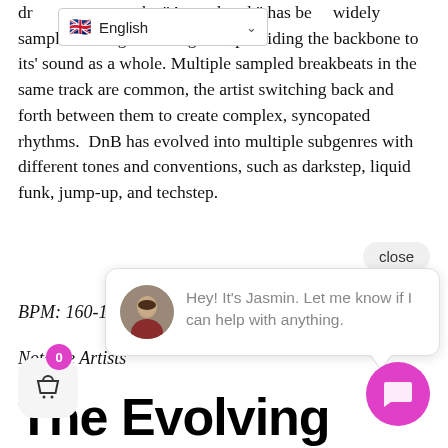[Figure (screenshot): Language selector UI showing English with UK flag and dropdown arrow]
drum breaks, known as the "Amen break" has been widely sampled throughout the genre, providing the backbone to its' sound as a whole. Multiple sampled breakbeats in the same track are common, the artist switching back and forth between them to create complex, syncopated rhythms.  DnB has evolved into multiple subgenres with different tones and conventions, such as darkstep, liquid funk, jump-up, and techstep.
BPM: 160-180
Notable Artists
[Figure (screenshot): Close button (rounded pill) with text 'close']
[Figure (screenshot): Chat popup with avatar photo of Jasmin and message: Hey! It's Jasmin. Let me know if I can help with anything.]
The Evolving EDM Landscape
[Figure (screenshot): Shopping basket button with pink badge showing count 0]
[Figure (screenshot): Pink chat FAB button with speech bubble icon]